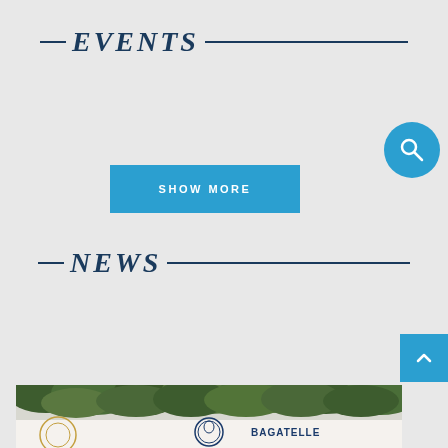EVENTS
SHOW MORE
[Figure (other): Blue circular search button with magnifying glass icon]
NEWS
[Figure (other): Blue square scroll-to-top button with upward chevron]
[Figure (photo): Photo of a restaurant exterior with green foliage, a circular Bagatelle logo, and the word BAGATELLE visible on the wall]